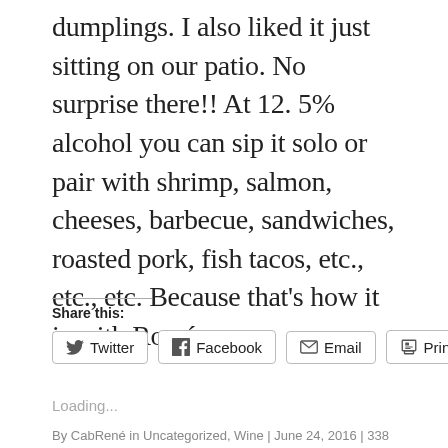dumplings. I also liked it just sitting on our patio. No surprise there!! At 12. 5% alcohol you can sip it solo or pair with shrimp, salmon, cheeses, barbecue, sandwiches, roasted pork, fish tacos, etc., etc., etc. Because that's how it is with Rose´.
Share this:
Twitter Facebook Email Print
Loading...
By CabRené in Uncategorized, Wine | June 24, 2016 | 338 Words